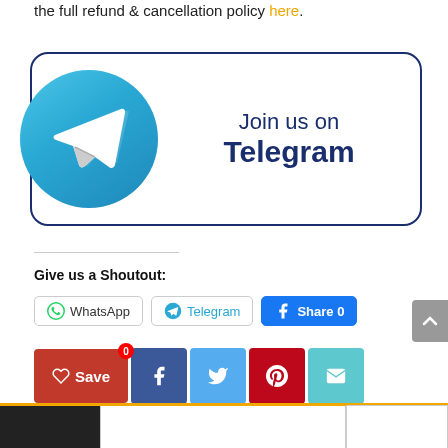the full refund & cancellation policy here.
[Figure (illustration): Telegram banner with blue circle Telegram logo and paper plane icon on left, text 'Join us on Telegram' on right, all inside a rounded rectangle border]
Give us a Shoutout:
WhatsApp share button
Telegram share button
Facebook Share 0 button
Save 0 button (red)
Facebook icon button (dark blue)
Twitter icon button (light blue)
Pinterest icon button (red)
Email icon button (teal)